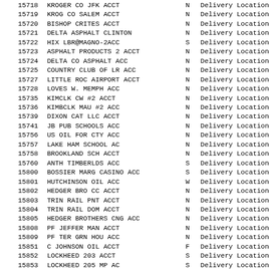| ID | Name | Code | Type |
| --- | --- | --- | --- |
| 15718 | KROGER CO JFK ACCT | N | Delivery Location |
| 15719 | KROG CO SALEM ACCT | N | Delivery Location |
| 15720 | BISHOP CRITES ACCT | N | Delivery Location |
| 15721 | DELTA ASPHALT CLINTON | N | Delivery Location |
| 15722 | HIX LBR@MAGNO-2ACC | S | Delivery Location |
| 15723 | ASPHALT PRODUCTS 2 ACCT | N | Delivery Location |
| 15724 | DELTA CO ASPHALT ACC | N | Delivery Location |
| 15725 | COUNTRY CLUB OF LR ACC | N | Delivery Location |
| 15727 | LITTLE ROC AIRPORT ACCT | N | Delivery Location |
| 15728 | LOVES W. MEMPH ACC | N | Delivery Location |
| 15735 | KIMCLK CW #2 ACCT | N | Delivery Location |
| 15736 | KIMBCLK MAU #2 ACC | N | Delivery Location |
| 15739 | DIXON CAT LLC ACCT | N | Delivery Location |
| 15741 | JB PUB SCHOOLS ACC | N | Delivery Location |
| 15756 | US OIL FOR CTY ACC | N | Delivery Location |
| 15757 | LAKE HAM SCHOOL AC | N | Delivery Location |
| 15758 | BROOKLAND SCH ACCT | N | Delivery Location |
| 15760 | ANTH TIMBERLDS ACC | S | Delivery Location |
| 15800 | BOSSIER MARG CASINO ACC | S | Delivery Location |
| 15801 | HUTCHINSON OIL ACC | W | Delivery Location |
| 15802 | HEDGER BRO CC ACCT | N | Delivery Location |
| 15803 | TRIN RAIL PNT ACCT | N | Delivery Location |
| 15804 | TRIN RAIL DOM ACCT | N | Delivery Location |
| 15805 | HEDGER BROTHERS CNG ACC | N | Delivery Location |
| 15808 | PF JEFFER MAN ACCT | N | Delivery Location |
| 15809 | PF TER GRN HOU ACC | N | Delivery Location |
| 15851 | C JOHNSON OIL ACCT | F | Delivery Location |
| 15852 | LOCKHEED 203 ACCT | S | Delivery Location |
| 15853 | LOCKHEED 205 MP AC | S | Delivery Location |
| 15854 | TEXAN TNK CAR 2 AC | S | Delivery Location |